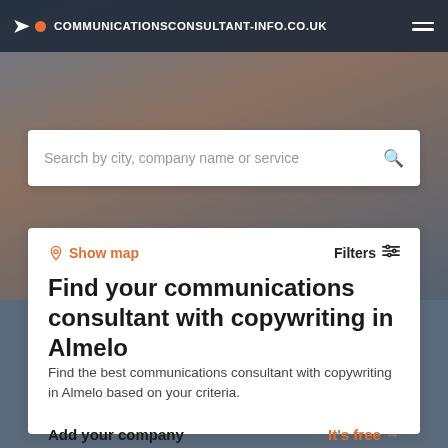COMMUNICATIONSCONSULTANT-INFO.CO.UK
[Figure (screenshot): Search bar with placeholder text: Search by city, company name or service]
Show map
Filters
Find your communications consultant with copywriting in Almelo
Find the best communications consultant with copywriting in Almelo based on your criteria.
Add your company
It's free →